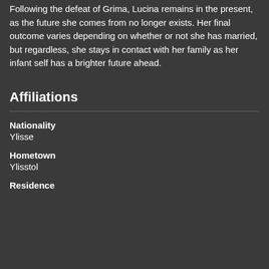with him several times while disguised as Marth, at one point dueling him at Regna Ferox, but remains in the shadows until she is inadvertently unmasked. Following the defeat of Grima, Lucina remains in the present, as the future she comes from no longer exists. Her final outcome varies depending on whether or not she has married, but regardless, she stays in contact with her family as her infant self has a brighter future ahead.
Affiliations
Nationality
Ylisse
Hometown
Ylisstol
Residence